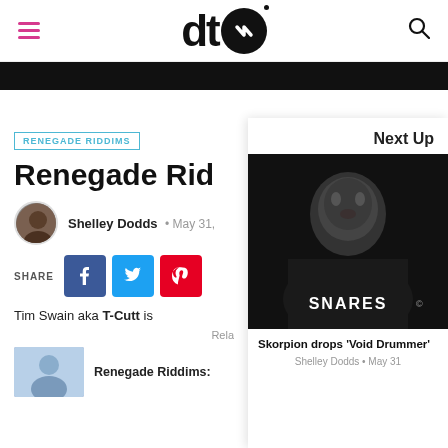DT logo, hamburger menu, search icon
[Figure (photo): Black banner/navigation bar]
[Figure (photo): White spacing gap]
RENEGADE RIDDIMS
Renegade Rid
Shelley Dodds · May 31,
SHARE
Tim Swain aka T-Cutt is
Rela
[Figure (photo): Small thumbnail of a person for related article]
Renegade Riddims:
Next Up
[Figure (photo): Black and white photo of a man wearing a SNARES t-shirt]
Skorpion drops 'Void Drummer'
Shelley Dodds • May 31